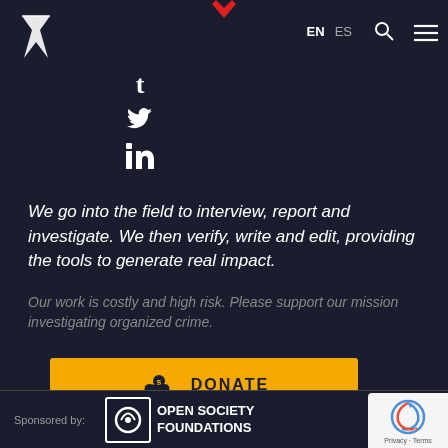[Figure (logo): Latin America map/arrow logo in white at top left]
EN  ES  [search icon]  [menu icon]
[Figure (illustration): Social media icons: Facebook (t), Twitter bird, LinkedIn (in) stacked vertically in white]
We go into the field to interview, report and investigate. We then verify, write and edit, providing the tools to generate real impact.
Our work is costly and high risk. Please support our mission investigating organized crime.
[Figure (other): Orange DONATE button with hand-coin icon]
Sponsored by:  OPEN SOCIETY FOUNDATIONS
[Figure (other): reCAPTCHA Privacy - Terms badge at bottom right]